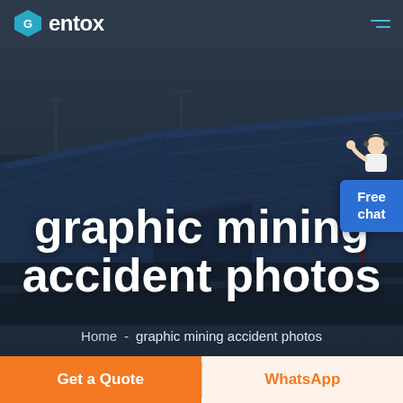[Figure (logo): Entox company logo with shield icon in teal/blue, white text 'entox']
[Figure (screenshot): Navigation bar with Entox logo on left and hamburger menu lines (blue) on right, dark navy background]
[Figure (photo): Aerial view of large industrial warehouse complex with blue roofs, dark overlay, with a free chat button widget in lower right showing a customer service representative and blue 'Free chat' button]
graphic mining accident photos
Home  -  graphic mining accident photos
Get a Quote
WhatsApp